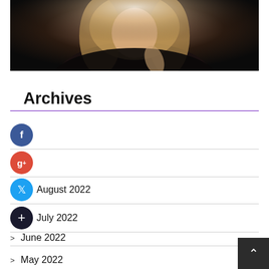[Figure (photo): Photo of a woman with long curly blonde hair wearing a dark blazer and black turtleneck, holding something near her neck, with a gold watch visible, dark background with backlight.]
Archives
August 2022
July 2022
June 2022
May 2022